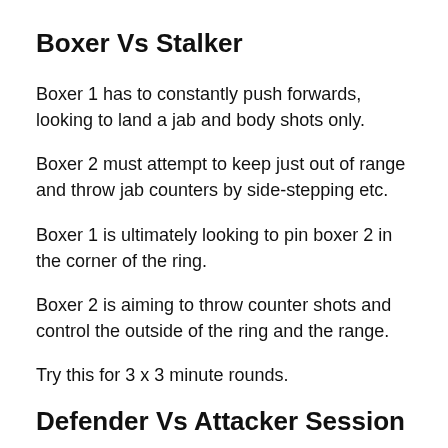Boxer Vs Stalker
Boxer 1 has to constantly push forwards, looking to land a jab and body shots only.
Boxer 2 must attempt to keep just out of range and throw jab counters by side-stepping etc.
Boxer 1 is ultimately looking to pin boxer 2 in the corner of the ring.
Boxer 2 is aiming to throw counter shots and control the outside of the ring and the range.
Try this for 3 x 3 minute rounds.
Defender Vs Attacker Session